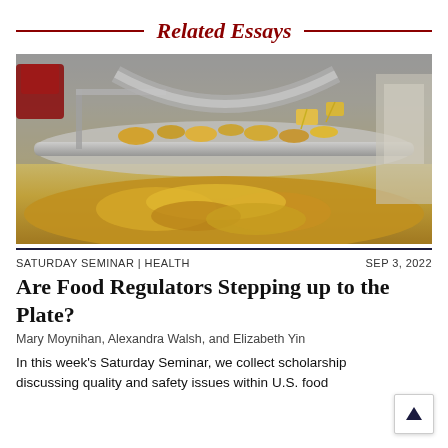Related Essays
[Figure (photo): Industrial food processing line showing chips/crisps being conveyed on a metal conveyor belt in a factory setting]
SATURDAY SEMINAR | HEALTH  SEP 3, 2022
Are Food Regulators Stepping up to the Plate?
Mary Moynihan, Alexandra Walsh, and Elizabeth Yin
In this week’s Saturday Seminar, we collect scholarship discussing quality and safety issues within U.S. food